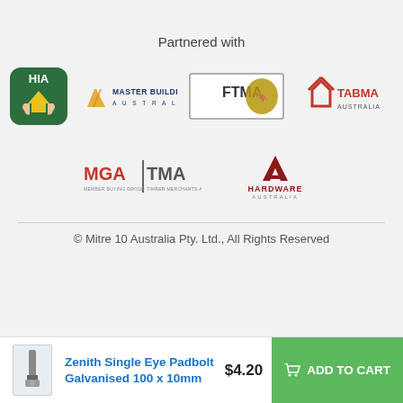Partnered with
[Figure (logo): HIA logo - dark green rounded square with hands holding a house and HIA text]
[Figure (logo): Master Builders Australia logo - orange/yellow building graphic with text MASTER BUILDERS AUSTRALIA]
[Figure (logo): FTMA logo - rectangular border with FTMA text and stylized gold kangaroo]
[Figure (logo): TABMA Australia logo - red house outline with TABMA AUSTRALIA text]
[Figure (logo): MGA|TMA logo - red MGA text, grey TMA text with small subtext]
[Figure (logo): Hardware Australia logo - dark red/maroon A chevron graphic with HARDWARE AUSTRALIA text]
© Mitre 10 Australia Pty. Ltd., All Rights Reserved
Zenith Single Eye Padbolt Galvanised 100 x 10mm
$4.20
ADD TO CART